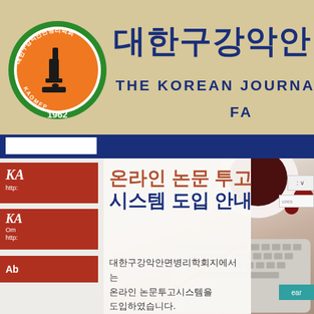[Figure (logo): Korean Journal of Oral and Maxillofacial Pathology circular logo with microscope illustration, green border, orange background, year 1962]
대한구강악안면병
THE KOREAN JOURNAL
[Figure (screenshot): Website screenshot showing journal homepage with sidebar links (KA buttons with URLs, About link), navigation bar, and an overlay promotional card for online manuscript submission system]
온라인 논문 투고 시스템 도입 안내
대한구강악안면병리학회지에서는 온라인 논문투고시스템을 도입하였습니다.